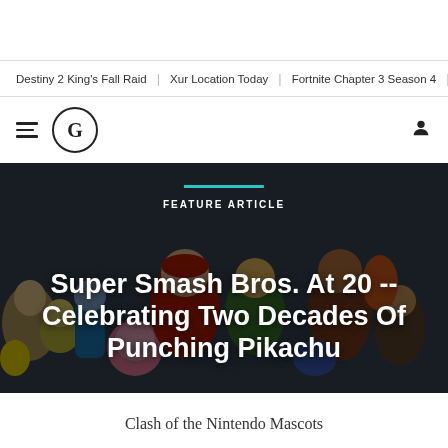Destiny 2 King's Fall Raid | Xur Location Today | Fortnite Chapter 3 Season 4 | Today's Wo…
[Figure (logo): Gamespot G logo in circle with hamburger menu icon and user profile icon]
[Figure (photo): Super Smash Bros. characters group photo used as hero banner background with text overlay: FEATURE ARTICLE and title Super Smash Bros. At 20 -- Celebrating Two Decades Of Punching Pikachu]
Super Smash Bros. At 20 -- Celebrating Two Decades Of Punching Pikachu
Clash of the Nintendo Mascots